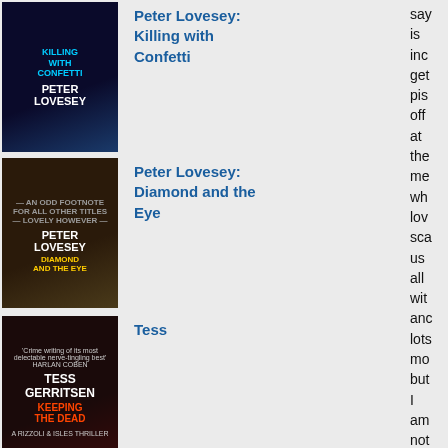[Figure (illustration): Book cover: Peter Lovesey - Killing with Confetti]
Peter Lovesey: Killing with Confetti
[Figure (illustration): Book cover: Peter Lovesey - Diamond and the Eye]
Peter Lovesey: Diamond and the Eye
[Figure (illustration): Book cover: Tess Gerritsen - Keeping the Dead]
Tess
say
is
inc
get
pis
off
at
the
me
wh
lov
sc
us
all
wit
an
lots
mo
but
I
am
not
goi